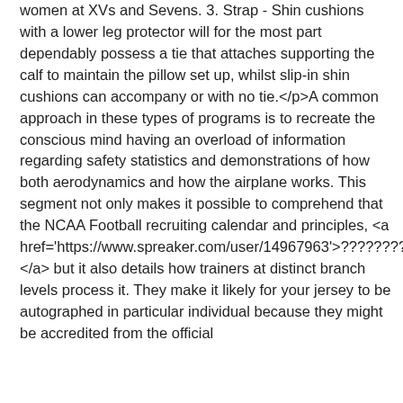women at XVs and Sevens. 3. Strap - Shin cushions with a lower leg protector will for the most part dependably possess a tie that attaches supporting the calf to maintain the pillow set up, whilst slip-in shin cushions can accompany or with no tie.</p>A common approach in these types of programs is to recreate the conscious mind having an overload of information regarding safety statistics and demonstrations of how both aerodynamics and how the airplane works. This segment not only makes it possible to comprehend that the NCAA Football recruiting calendar and principles, <a href='https://www.spreaker.com/user/14967963'>????????</a> but it also details how trainers at distinct branch levels process it. They make it likely for your jersey to be autographed in particular individual because they might be accredited from the official